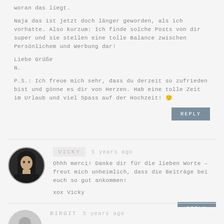woran das liegt.
Naja das ist jetzt doch länger geworden, als ich vorhatte. Also kurzum: Ich finde solche Posts von dir super und sie stellen eine tolle Balance zwischen Persönlichem und Werbung dar!
Liebe Grüße
N.
P.S.: Ich freue mich sehr, dass du derzeit so zufrieden bist und gönne es dir von Herzen. Hab eine tolle Zeit im Urlaub und viel Spass auf der Hochzeit! 🙂
REPLY
[Figure (photo): Round avatar photo of Vicky, dark-haired woman]
VICKY   5 years ago
Ohhh merci! Danke dir für die lieben Worte – freut mich unheimlich, dass die Beiträge bei euch so gut ankommen!
xox Vicky
REPLY
[Figure (illustration): Round generic gray avatar icon for Birgit]
BIRGIT   5 years ago